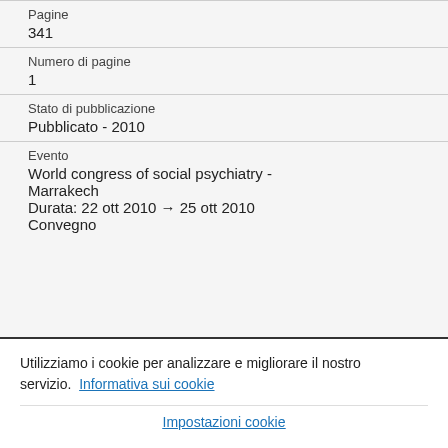| Pagine | 341 |
| Numero di pagine | 1 |
| Stato di pubblicazione | Pubblicato - 2010 |
| Evento | World congress of social psychiatry - Marrakech
Durata: 22 ott 2010 → 25 ott 2010
Convegno |
Utilizziamo i cookie per analizzare e migliorare il nostro servizio.  Informativa sui cookie
Impostazioni cookie